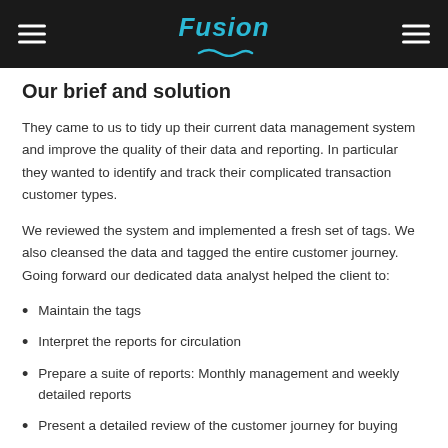Fusion
Our brief and solution
They came to us to tidy up their current data management system and improve the quality of their data and reporting. In particular they wanted to identify and track their complicated transaction customer types.
We reviewed the system and implemented a fresh set of tags. We also cleansed the data and tagged the entire customer journey. Going forward our dedicated data analyst helped the client to:
Maintain the tags
Interpret the reports for circulation
Prepare a suite of reports: Monthly management and weekly detailed reports
Present a detailed review of the customer journey for buying